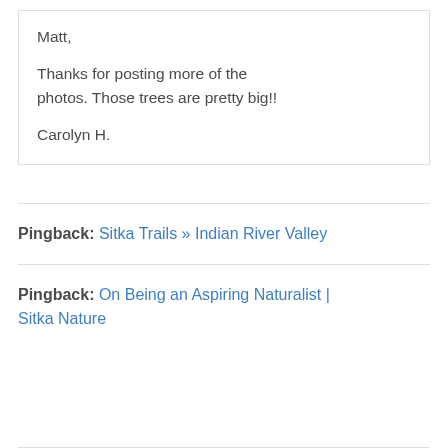Matt,

Thanks for posting more of the photos. Those trees are pretty big!!

Carolyn H.
Pingback: Sitka Trails » Indian River Valley
Pingback: On Being an Aspiring Naturalist | Sitka Nature